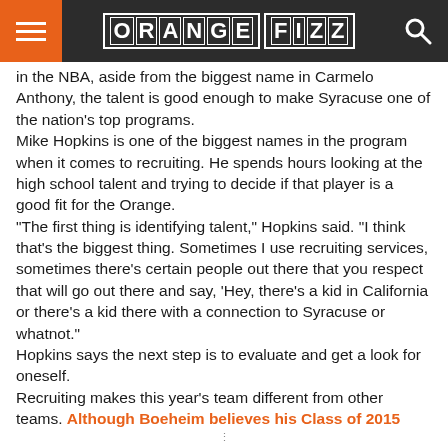ORANGE FIZZ
in the NBA, aside from the biggest name in Carmelo Anthony, the talent is good enough to make Syracuse one of the nation's top programs.
Mike Hopkins is one of the biggest names in the program when it comes to recruiting. He spends hours looking at the high school talent and trying to decide if that player is a good fit for the Orange.
"The first thing is identifying talent," Hopkins said. "I think that's the biggest thing. Sometimes I use recruiting services, sometimes there's certain people out there that you respect that will go out there and say, 'Hey, there's a kid in California or there's a kid there with a connection to Syracuse or whatnot."
Hopkins says the next step is to evaluate and get a look for oneself.
Recruiting makes this year's team different from other teams. Although Boeheim believes his Class of 2015 recruits may be his best ever, don't underestimate this year's squad.